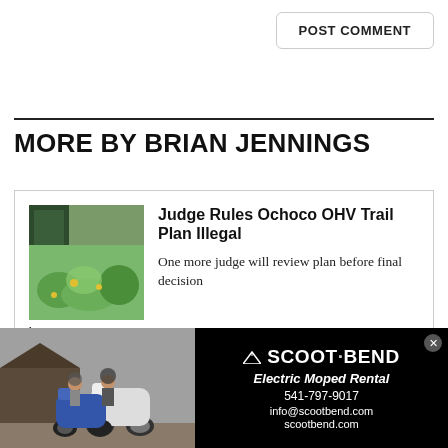POST COMMENT
MORE BY BRIAN JENNINGS
[Figure (photo): Green leafy field/meadow photo thumbnail for Judge Rules Ochoco OHV Trail Plan Illegal article]
Judge Rules Ochoco OHV Trail Plan Illegal
One more judge will review plan before final decision
by Brian Jennings
Aug 30, 2018
[Figure (photo): Person wearing pink hat photo thumbnail for A Fisheries Pioneer article]
A Fisheries Pioneer
[Figure (photo): Advertisement for Scoot Bend Electric Moped Rental showing two people with electric mopeds]
SCOOT·BEND Electric Moped Rental 541-797-9017 info@scootbend.com scootbend.com